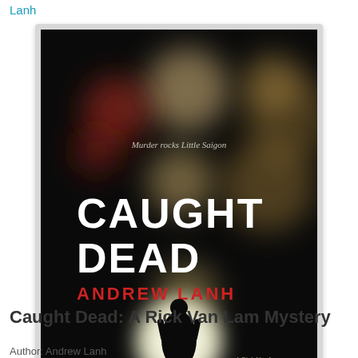Lanh
[Figure (photo): Book cover of 'Caught Dead: A Rick Van Lam Mystery' by Andrew Lanh. Dark background with bokeh light circles in warm amber, gold, red and white tones. Text reads 'Murder rocks Little Saigon' at top, 'CAUGHT DEAD' in large white letters in center, 'ANDREW LANH' in red letters below, silhouette of a person standing in a bright circular light at bottom, and 'A Rick Van Lam Mystery' text at bottom right.]
Caught Dead: A Rick Van Lam Mystery
Author: Andrew Lanh